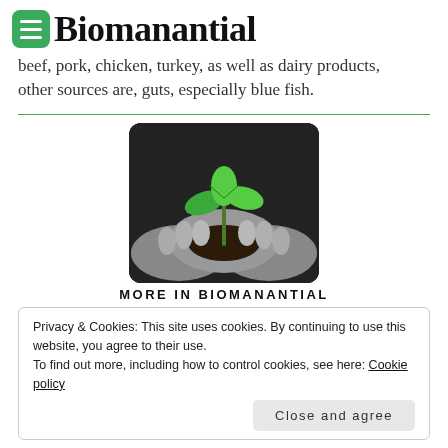Biomanantial
beef, pork, chicken, turkey, as well as dairy products, other sources are, guts, especially blue fish.
[Figure (photo): Black and white photo of hands holding a small green plant seedling with soil]
MORE IN BIOMANANTIAL
Privacy & Cookies: This site uses cookies. By continuing to use this website, you agree to their use.
To find out more, including how to control cookies, see here: Cookie policy
Close and agree
Kava Kava is a very potent anxiolytic complement